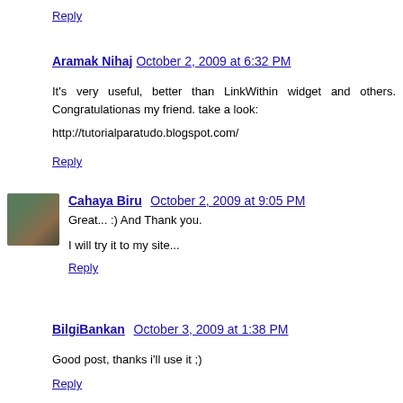Reply
Aramak Nihaj  October 2, 2009 at 6:32 PM
It's very useful, better than LinkWithin widget and others. Congratulationas my friend. take a look:
http://tutorialparatudo.blogspot.com/
Reply
Cahaya Biru  October 2, 2009 at 9:05 PM
Great... :) And Thank you.
I will try it to my site...
Reply
BilgiBankan  October 3, 2009 at 1:38 PM
Good post, thanks i'll use it ;)
Reply